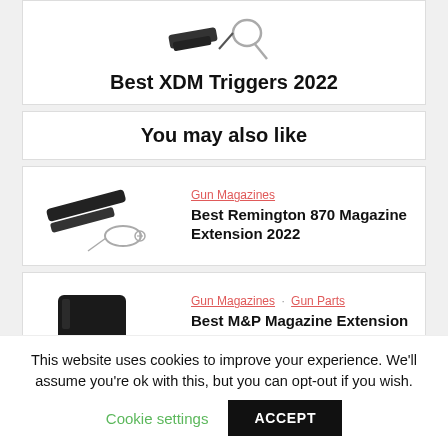[Figure (photo): Gun trigger parts/components on white background]
Best XDM Triggers 2022
You may also like
[Figure (photo): Remington 870 magazine extension parts on white background]
Gun Magazines
Best Remington 870 Magazine Extension 2022
[Figure (photo): HVUE M&P magazine extension on white background]
Gun Magazines · Gun Parts
Best M&P Magazine Extension 2022
This website uses cookies to improve your experience. We'll assume you're ok with this, but you can opt-out if you wish.
Cookie settings
ACCEPT